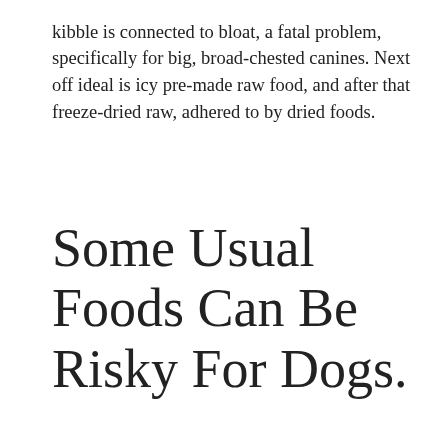kibble is connected to bloat, a fatal problem, specifically for big, broad-chested canines. Next off ideal is icy pre-made raw food, and after that freeze-dried raw, adhered to by dried foods.
Some Usual Foods Can Be Risky For Dogs.
Cooked bones and also rawhide chews can create